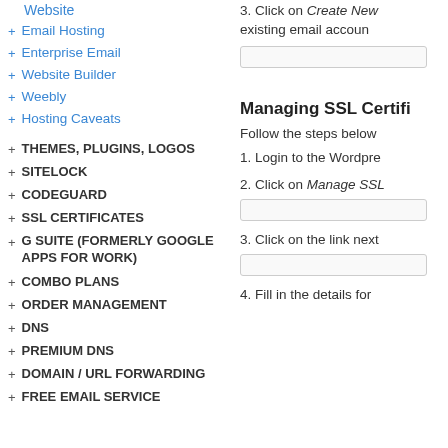Website
+ Email Hosting
+ Enterprise Email
+ Website Builder
+ Weebly
+ Hosting Caveats
+ THEMES, PLUGINS, LOGOS
+ SITELOCK
+ CODEGUARD
+ SSL CERTIFICATES
+ G SUITE (FORMERLY GOOGLE APPS FOR WORK)
+ COMBO PLANS
+ ORDER MANAGEMENT
+ DNS
+ PREMIUM DNS
+ DOMAIN / URL FORWARDING
+ FREE EMAIL SERVICE
3. Click on Create New existing email accoun
Managing SSL Certifi
Follow the steps below
1. Login to the Wordpre
2. Click on Manage SSL
3. Click on the link next
4. Fill in the details for